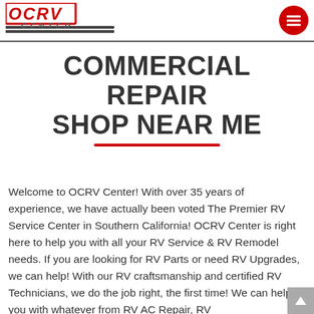[Figure (logo): OCRV Center logo with red outlined text 'OCRV' and grey striped 'CENTER' text below]
[Figure (other): Red circular hamburger menu button with three white horizontal lines]
COMMERCIAL REPAIR SHOP NEAR ME
Welcome to OCRV Center! With over 35 years of experience, we have actually been voted The Premier RV Service Center in Southern California! OCRV Center is right here to help you with all your RV Service & RV Remodel needs. If you are looking for RV Parts or need RV Upgrades, we can help! With our RV craftsmanship and certified RV Technicians, we do the job right, the first time! We can help you with whatever from RV AC Repair, RV